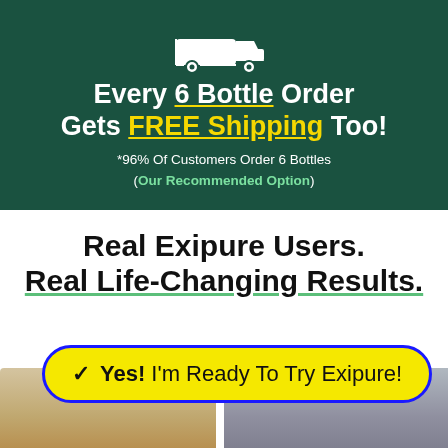[Figure (illustration): White truck/delivery icon on dark green background]
Every 6 Bottle Order Gets FREE Shipping Too!
*96% Of Customers Order 6 Bottles (Our Recommended Option)
Real Exipure Users. Real Life-Changing Results.
[Figure (photo): Two photos of Exipure users side by side at the bottom of the page]
✓ Yes! I'm Ready To Try Exipure!